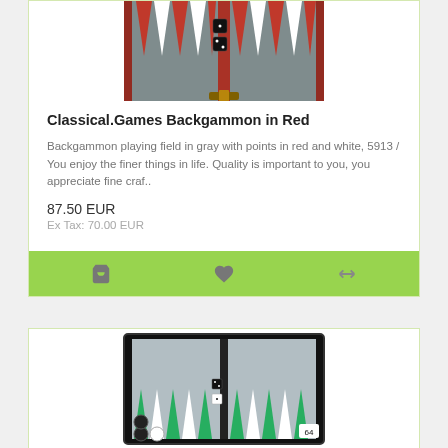[Figure (photo): Red backgammon board with gray and white triangular points and two dice visible]
Classical.Games Backgammon in Red
Backgammon playing field in gray with points in red and white, 5913 / You enjoy the finer things in life. Quality is important to you, you appreciate fine craf..
87.50 EUR
Ex Tax: 70.00 EUR
[Figure (photo): Black backgammon board with green and white triangular points and checkers/pieces visible]